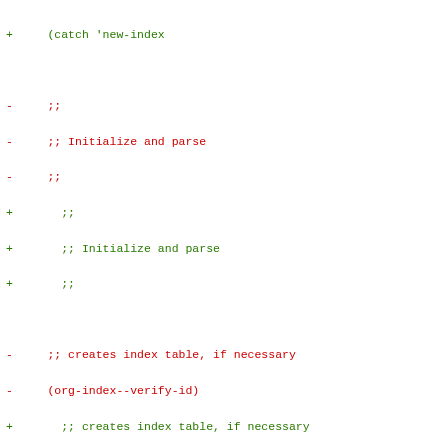Code diff showing changes to Lisp source code with added (+) and removed (-) lines covering initialization, parse, index table creation, configuration, context retrieval, and sorting sections.